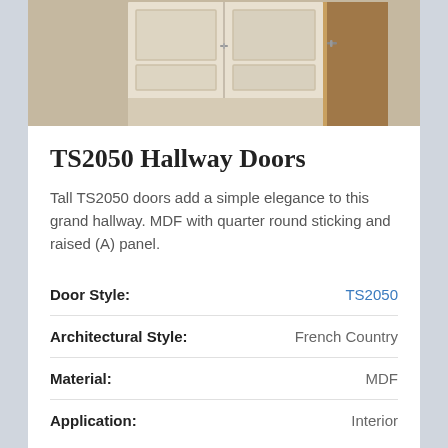[Figure (photo): Photo of tall white TS2050 hallway doors in a grand hallway, showing two panel doors with raised panels and a lever handle]
TS2050 Hallway Doors
Tall TS2050 doors add a simple elegance to this grand hallway. MDF with quarter round sticking and raised (A) panel.
| Attribute | Value |
| --- | --- |
| Door Style: | TS2050 |
| Architectural Style: | French Country |
| Material: | MDF |
| Application: | Interior |
Download Photo